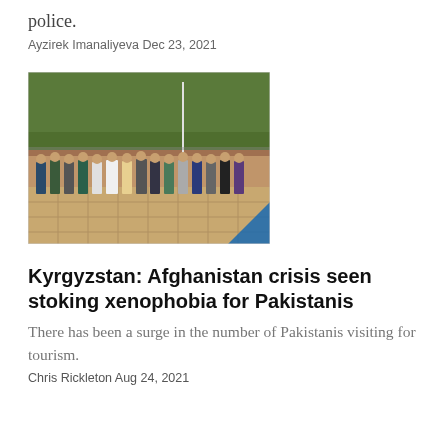police.
Ayzirek Imanaliyeva Dec 23, 2021
[Figure (photo): A group of people standing in a line outdoors in front of trees and a wall, appearing to be in a courtyard or open area.]
Kyrgyzstan: Afghanistan crisis seen stoking xenophobia for Pakistanis
There has been a surge in the number of Pakistanis visiting for tourism.
Chris Rickleton Aug 24, 2021